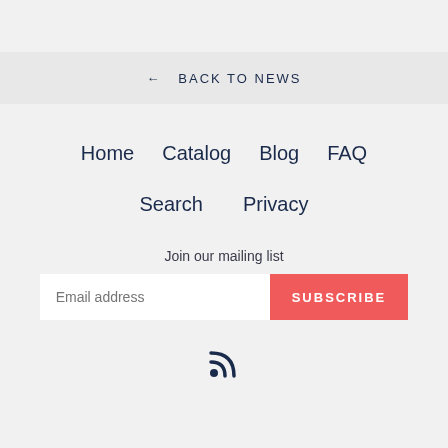← BACK TO NEWS
Home
Catalog
Blog
FAQ
Search
Privacy
Join our mailing list
Email address
SUBSCRIBE
[Figure (illustration): RSS feed icon]